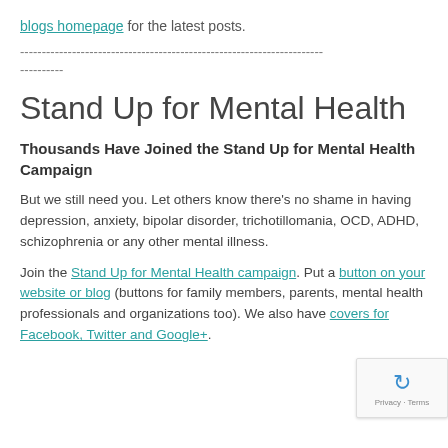blogs homepage for the latest posts.
--- (dashed separator line)
Stand Up for Mental Health
Thousands Have Joined the Stand Up for Mental Health Campaign
But we still need you. Let others know there's no shame in having depression, anxiety, bipolar disorder, trichotillomania, OCD, ADHD, schizophrenia or any other mental illness.
Join the Stand Up for Mental Health campaign. Put a button on your website or blog (buttons for family members, parents, mental health professionals and organizations too). We also have covers for Facebook, Twitter and Google+.